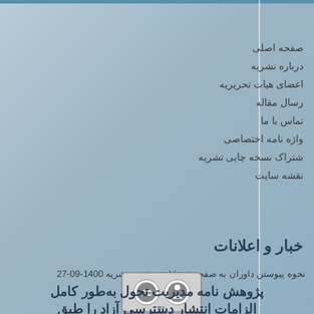صفحه اصلی
درباره نشریه
اعضای هیات تحریریه
رسال مقاله
تماس با ما
واژه نامه اختصاصی
شتراک نسخه چاپی تشریه
نقشه سایت
خبار و اعلانات
نحوه پیوستن داوران به صفحه publons تشریه نشریه 1400-09-27
[Figure (logo): Creative Commons CC BY license badge]
پژوهش نامه مدیریت تحول به‌طور کامل الزامات انتشار دسترسی آزاد را طبق